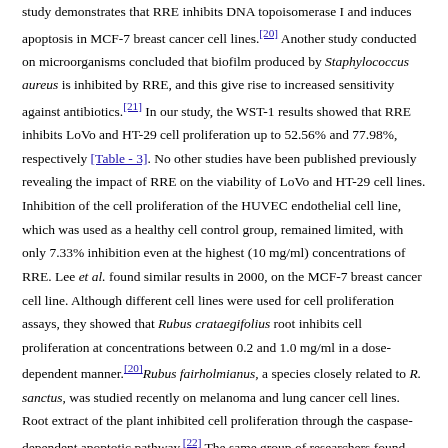study demonstrates that RRE inhibits DNA topoisomerase I and induces apoptosis in MCF-7 breast cancer cell lines.[20] Another study conducted on microorganisms concluded that biofilm produced by Staphylococcus aureus is inhibited by RRE, and this give rise to increased sensitivity against antibiotics.[21] In our study, the WST-1 results showed that RRE inhibits LoVo and HT-29 cell proliferation up to 52.56% and 77.98%, respectively [Table - 3]. No other studies have been published previously revealing the impact of RRE on the viability of LoVo and HT-29 cell lines. Inhibition of the cell proliferation of the HUVEC endothelial cell line, which was used as a healthy cell control group, remained limited, with only 7.33% inhibition even at the highest (10 mg/ml) concentrations of RRE. Lee et al. found similar results in 2000, on the MCF-7 breast cancer cell line. Although different cell lines were used for cell proliferation assays, they showed that Rubus crataegifolius root inhibits cell proliferation at concentrations between 0.2 and 1.0 mg/ml in a dose-dependent manner.[20]Rubus fairholmianus, a species closely related to R. sanctus, was studied recently on melanoma and lung cancer cell lines. Root extract of the plant inhibited cell proliferation through the caspase-dependent apoptotic pathway.[22] The same group of researchers found similar cell growth inhibition (up to 59%) in a human CRC (Caco-2) cell